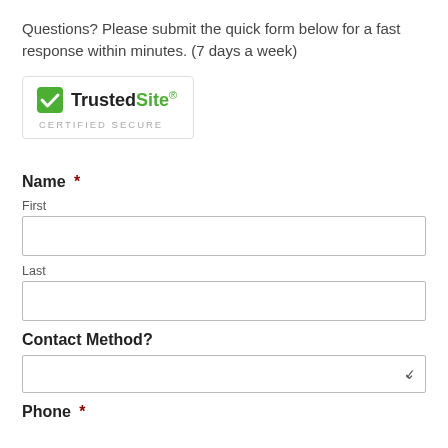Questions? Please submit the quick form below for a fast response within minutes. (7 days a week)
[Figure (logo): TrustedSite Certified Secure badge with green checkmark icon]
Name *
First
Last
Contact Method?
Phone *